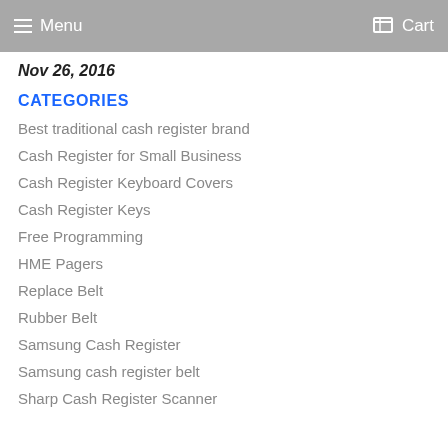Menu  Cart
Nov 26, 2016
CATEGORIES
Best traditional cash register brand
Cash Register for Small Business
Cash Register Keyboard Covers
Cash Register Keys
Free Programming
HME Pagers
Replace Belt
Rubber Belt
Samsung Cash Register
Samsung cash register belt
Sharp Cash Register Scanner